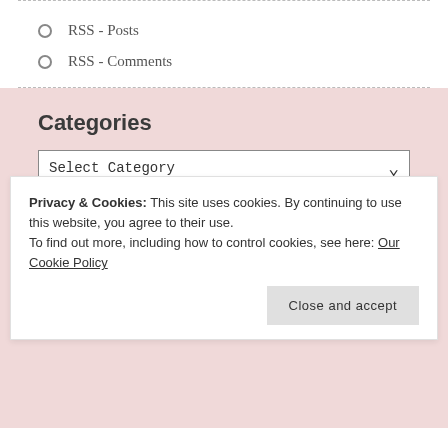RSS - Posts
RSS - Comments
Categories
Select Category
Privacy & Cookies: This site uses cookies. By continuing to use this website, you agree to their use.
To find out more, including how to control cookies, see here: Our Cookie Policy
Close and accept
Anderson and kelliesfoodtoglow.com.